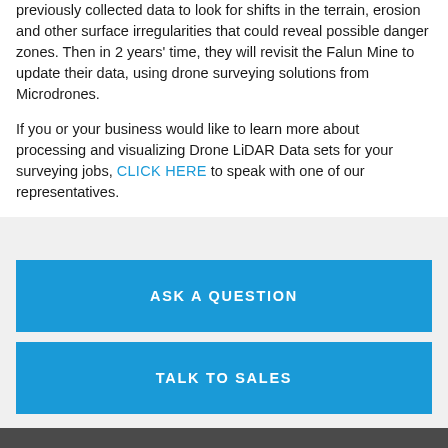previously collected data to look for shifts in the terrain, erosion and other surface irregularities that could reveal possible danger zones. Then in 2 years' time, they will revisit the Falun Mine to update their data, using drone surveying solutions from Microdrones.
If you or your business would like to learn more about processing and visualizing Drone LiDAR Data sets for your surveying jobs, CLICK HERE to speak with one of our representatives.
ASK A QUESTION
TALK TO SALES